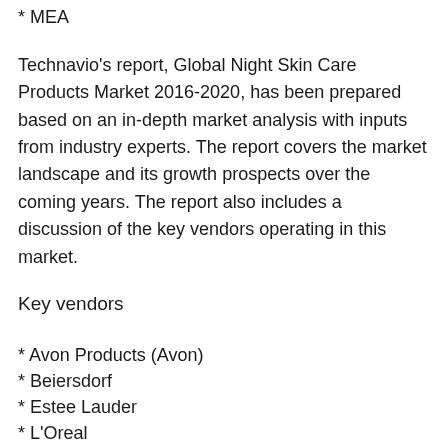* MEA
Technavio's report, Global Night Skin Care Products Market 2016-2020, has been prepared based on an in-depth market analysis with inputs from industry experts. The report covers the market landscape and its growth prospects over the coming years. The report also includes a discussion of the key vendors operating in this market.
Key vendors
* Avon Products (Avon)
* Beiersdorf
* Estee Lauder
* L'Oreal